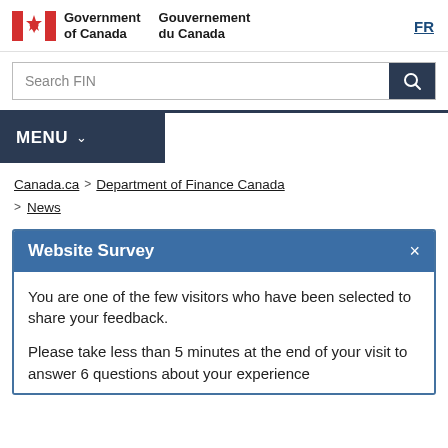Government of Canada / Gouvernement du Canada | FR
[Figure (screenshot): Search bar with text 'Search FIN' and a dark blue search button with magnifying glass icon]
[Figure (screenshot): Dark navy MENU button with dropdown chevron]
Canada.ca > Department of Finance Canada
> News
Website Survey
You are one of the few visitors who have been selected to share your feedback.
Please take less than 5 minutes at the end of your visit to answer 6 questions about your experience